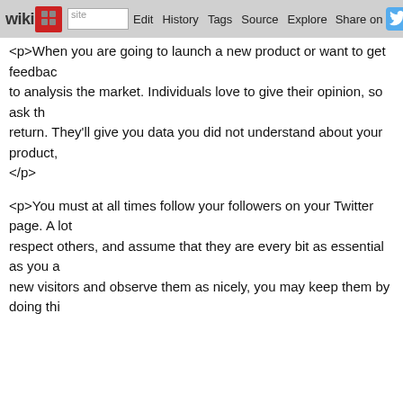wikidot | site Edit History Tags Source Explore Share on [Twitter]
<p>When you are going to launch a new product or want to get feedbac... to analysis the market. Individuals love to give their opinion, so ask th... return. They'll give you data you did not understand about your product, </p>
<p>You must at all times follow your followers on your Twitter page. A lot... respect others, and assume that they are every bit as essential as you a... new visitors and observe them as nicely, you may keep them by doing thi...</p>